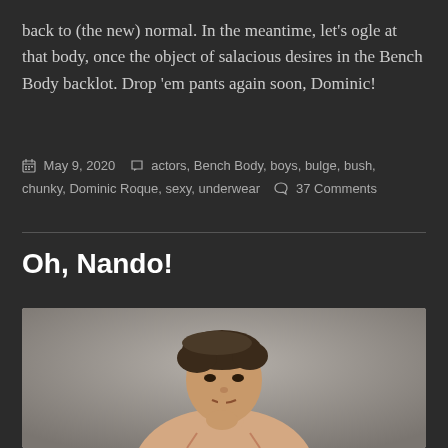back to (the new) normal. In the meantime, let's ogle at that body, once the object of salacious desires in the Bench Body backlot. Drop 'em pants again soon, Dominic!
May 9, 2020  actors, Bench Body, boys, bulge, bush, chunky, Dominic Roque, sexy, underwear  37 Comments
Oh, Nando!
[Figure (photo): Shirtless young man with dark hair posing with finger on chin against a grey background]